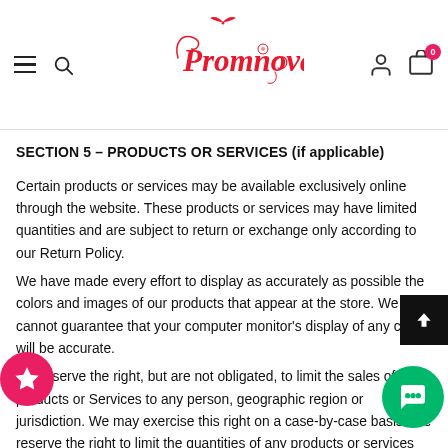[Figure (logo): Promnova script logo in red with decorative swirl and small butterfly/bird element above]
SECTION 5 - PRODUCTS OR SERVICES (if applicable)
Certain products or services may be available exclusively online through the website. These products or services may have limited quantities and are subject to return or exchange only according to our Return Policy.
We have made every effort to display as accurately as possible the colors and images of our products that appear at the store. We cannot guarantee that your computer monitor's display of any color will be accurate.
We reserve the right, but are not obligated, to limit the sales of our products or Services to any person, geographic region or jurisdiction. We may exercise this right on a case-by-case basis. We reserve the right to limit the quantities of any products or services that we offer. All descriptions of products or product pricing are